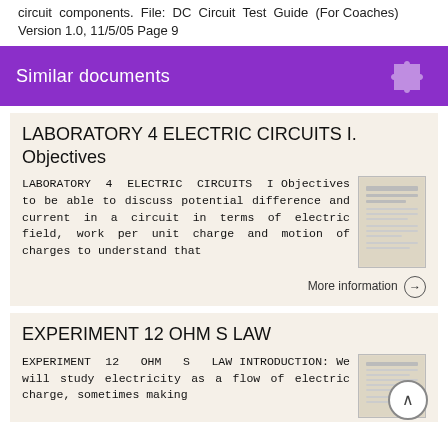circuit components. File: DC Circuit Test Guide (For Coaches) Version 1.0, 11/5/05 Page 9
Similar documents
LABORATORY 4 ELECTRIC CIRCUITS I. Objectives
LABORATORY 4 ELECTRIC CIRCUITS I Objectives to be able to discuss potential difference and current in a circuit in terms of electric field, work per unit charge and motion of charges to understand that
More information →
EXPERIMENT 12 OHM S LAW
EXPERIMENT 12 OHM S LAW INTRODUCTION: We will study electricity as a flow of electric charge, sometimes making